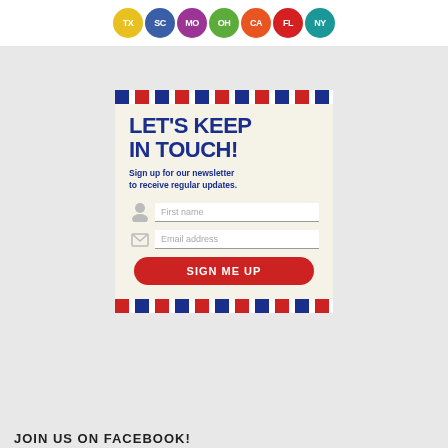[Figure (illustration): Row of colorful state abbreviation circles: TX (yellow), SC (blue), MO (purple), OH (green), CA (red-orange), FL (red), NY (teal)]
[Figure (infographic): Newsletter signup card with airmail border stripes, heading 'LET'S KEEP IN TOUCH!', premium quality badge, body text, first name field, email address field, and red 'SIGN ME UP' button]
LET'S KEEP IN TOUCH!
Sign up for our newsletter to receive regular updates.
First name
Email address
SIGN ME UP
JOIN US ON FACEBOOK!